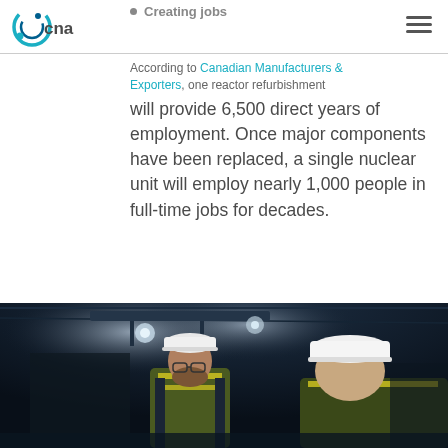CNA logo and navigation
Creating jobs
According to Canadian Manufacturers & Exporters, one reactor refurbishment will provide 6,500 direct years of employment. Once major components have been replaced, a single nuclear unit will employ nearly 1,000 people in full-time jobs for decades.
Photo credit: Ontario Power Generation's Darlington Nuclear GS
[Figure (photo): Two workers wearing white hard hats and yellow safety vests in an industrial facility, photographed in low light conditions inside what appears to be a nuclear or industrial plant.]